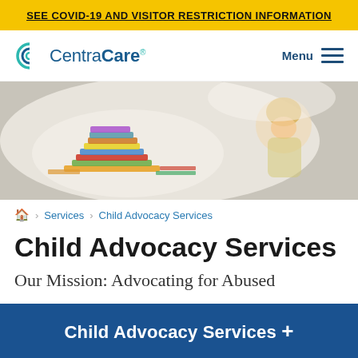SEE COVID-19 AND VISITOR RESTRICTION INFORMATION
[Figure (logo): CentraCare logo with stylized C icon and company name in teal/blue]
[Figure (photo): Young blonde child looking down at a stack of colorful books on a light background]
Home > Services > Child Advocacy Services
Child Advocacy Services
Our Mission: Advocating for Abused
Child Advocacy Services +